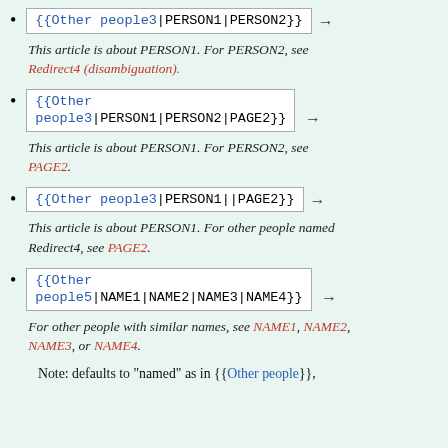{{Other people3|PERSON1|PERSON2}} → This article is about PERSON1. For PERSON2, see Redirect4 (disambiguation).
{{Other people3|PERSON1|PERSON2|PAGE2}} → This article is about PERSON1. For PERSON2, see PAGE2.
{{Other people3|PERSON1||PAGE2}} → This article is about PERSON1. For other people named Redirect4, see PAGE2.
{{Other people5|NAME1|NAME2|NAME3|NAME4}} → For other people with similar names, see NAME1, NAME2, NAME3, or NAME4.
Note: defaults to "named" as in {{Other people}},